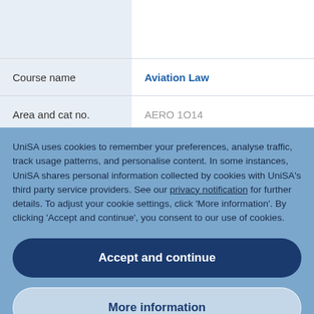|  |  |
| --- | --- |
| Course name | Aviation Law |
| Area and cat no. | AERO 1O14 |
UniSA uses cookies to remember your preferences, analyse traffic, track usage patterns, and personalise content. In some instances, UniSA shares personal information collected by cookies with UniSA's third party service providers. See our privacy notification for further details. To adjust your cookie settings, click 'More information'. By clicking 'Accept and continue', you consent to our use of cookies.
Accept and continue
More information